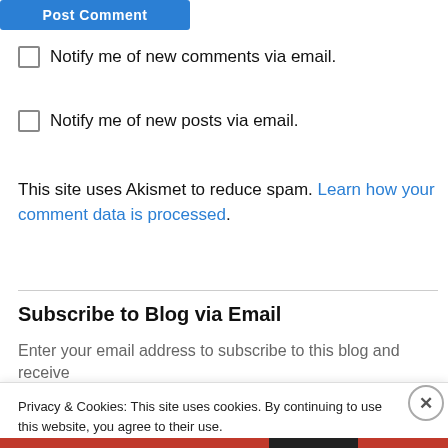[Figure (other): Blue 'Post Comment' button, partially cut off at top]
Notify me of new comments via email.
Notify me of new posts via email.
This site uses Akismet to reduce spam. Learn how your comment data is processed.
Subscribe to Blog via Email
Enter your email address to subscribe to this blog and receive notifications of new posts by email.
Privacy & Cookies: This site uses cookies. By continuing to use this website, you agree to their use.
To find out more, including how to control cookies, see here: Cookie Policy
Close and accept